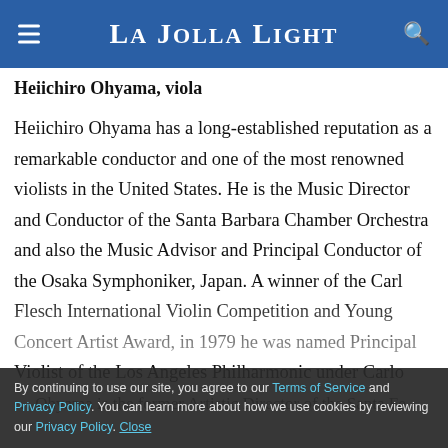La Jolla Light
Heiichiro Ohyama, viola
Heiichiro Ohyama has a long-established reputation as a remarkable conductor and one of the most renowned violists in the United States. He is the Music Director and Conductor of the Santa Barbara Chamber Orchestra and also the Music Advisor and Principal Conductor of the Osaka Symphoniker, Japan. A winner of the Carl Flesch International Violin Competition and Young Concert Artist Award, in 1979 he was named Principal Violist of the Los Angeles Philharmonic under Carlo … Ohyama is the former Artistic Director of the Santa Fe Chamber Music Festival and La Jolla Music Society
By continuing to use our site, you agree to our Terms of Service and Privacy Policy. You can learn more about how we use cookies by reviewing our Privacy Policy. Close